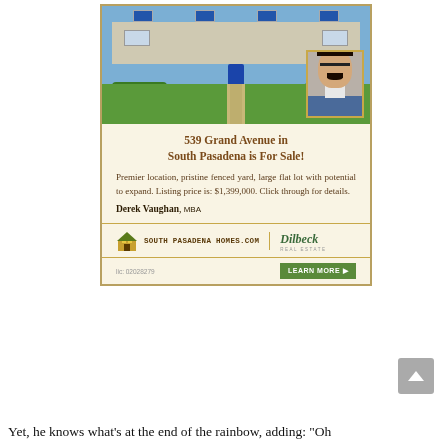[Figure (photo): Real estate advertisement card showing a house with green lawn and blue front door, with an inset headshot photo of agent Derek Vaughan in the lower right of the photo area. Below the photo: property address, description, agent name, logos for southpasadenahomes.com and Dilbeck Realty, license number, and a Learn More button.]
Yet, he knows what's at the end of the rainbow, adding: “Oh